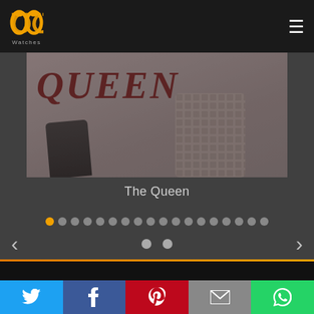PP Watches — navigation header with hamburger menu
[Figure (screenshot): Slideshow displaying 'The Queen' watch — large QUEEN text in dark red over a muted pink/grey background with a watch image partially visible, overlaid with semi-transparent dark layer]
The Queen
[Figure (infographic): Slideshow navigation: row of dots (first dot orange/active, rest grey) and previous/next arrows with two additional dots in the center]
[Figure (infographic): Social share bar with Twitter (blue), Facebook (dark blue), Pinterest (red), Email (grey), WhatsApp (green) buttons with white icons]